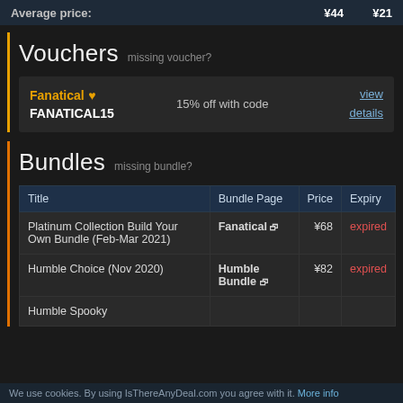| Average price: |  | ¥44 | ¥21 |
| --- | --- | --- | --- |
Vouchers missing voucher?
| Fanatical ♥  FANATICAL15 | 15% off with code | view details |
Bundles missing bundle?
| Title | Bundle Page | Price | Expiry |
| --- | --- | --- | --- |
| Platinum Collection Build Your Own Bundle (Feb-Mar 2021) | Fanatical ↗ | ¥68 | expired |
| Humble Choice (Nov 2020) | Humble Bundle ↗ | ¥82 | expired |
| Humble Spooky |  |  |  |
We use cookies. By using IsThereAnyDeal.com you agree with it. More info